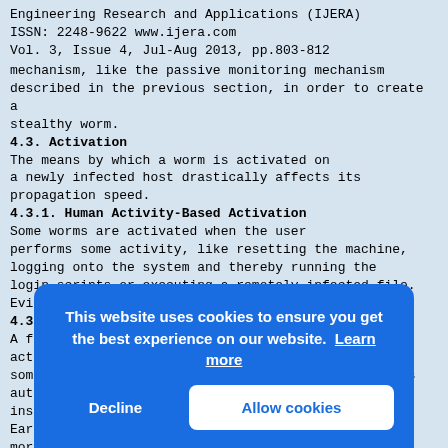Engineering Research and Applications (IJERA)
ISSN: 2248-9622 www.ijera.com
Vol. 3, Issue 4, Jul-Aug 2013, pp.803-812
mechanism, like the passive monitoring mechanism described in the previous section, in order to create a
stealthy worm.
4.3. Activation
The means by which a worm is activated on a newly infected host drastically affects its propagation speed.
4.3.1. Human Activity-Based Activation
Some worms are activated when the user performs some activity, like resetting the machine, logging onto the system and thereby running the login scripts or executing a remotely infected file. Evidently, such worms do not spread very rapidly.
4.3.2. Scheduled Process Activation
A faster spreading speed than the previous activation method is achieved by worms that rely on some scheduled process for activation. An example is auto
inst
Earl
more
rare
empl
4.4.
A co
Deni
site
number of nodes participating in the attack. A large worm network can cause large damage by issuing a
[Figure (other): Cookie consent banner overlay with blue background. Text reads: 'This website uses cookies to ensure you get the best experience on our website. Learn more'. Two buttons: 'Decline' and 'Allow cookies'.]